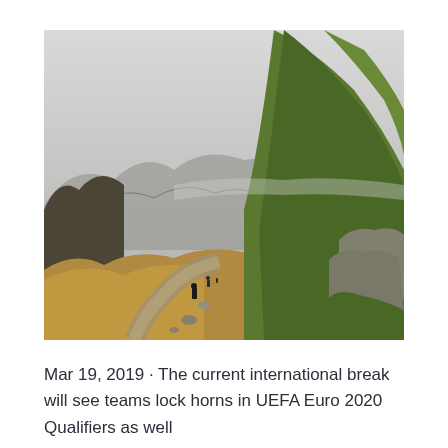[Figure (photo): Outdoor mountain landscape photograph showing a rocky hillside path with hikers, green grassy slopes on the right, darker mountains in the background left, and an overcast grey sky. The scene appears to be in the Scottish Highlands or similar terrain.]
Mar 19, 2019 · The current international break will see teams lock horns in UEFA Euro 2020 Qualifiers as well